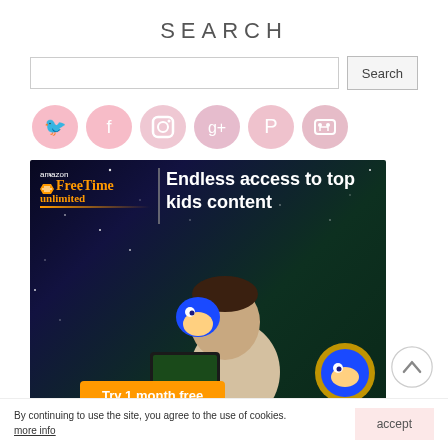SEARCH
[Figure (screenshot): Search input field with Search button]
[Figure (illustration): Row of pink heart-shaped social media icons: Twitter, Facebook, Instagram, Google+, Pinterest, RSS]
[Figure (photo): Amazon FreeTime Unlimited advertisement banner. Shows 'amazon FreeTime unlimited' logo on left with divider, tagline 'Endless access to top kids content', boy looking at tablet with Sonic the Hedgehog character, orange CTA button 'Try 1 month free', Sonic Tails logo bottom right. Dark space background with stars.]
By continuing to use the site, you agree to the use of cookies.
more info
accept